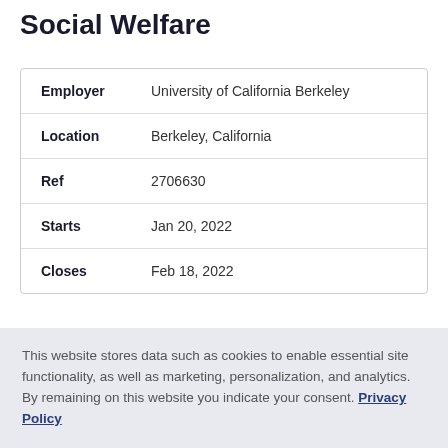Social Welfare
| Field | Value |
| --- | --- |
| Employer | University of California Berkeley |
| Location | Berkeley, California |
| Ref | 2706630 |
| Starts | Jan 20, 2022 |
| Closes | Feb 18, 2022 |
This job has expired
This website stores data such as cookies to enable essential site functionality, as well as marketing, personalization, and analytics. By remaining on this website you indicate your consent. Privacy Policy